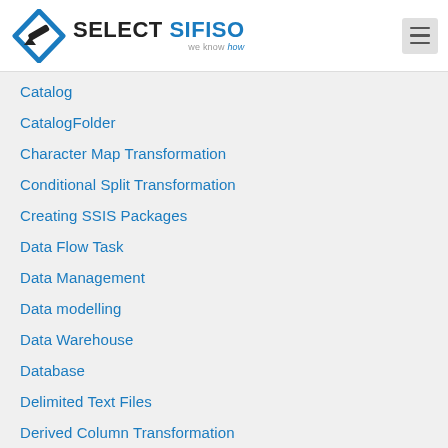[Figure (logo): Select Sifiso logo with blue and dark icon, text SELECT SIFISO and tagline 'we know how']
Catalog
CatalogFolder
Character Map Transformation
Conditional Split Transformation
Creating SSIS Packages
Data Flow Task
Data Management
Data modelling
Data Warehouse
Database
Delimited Text Files
Derived Column Transformation